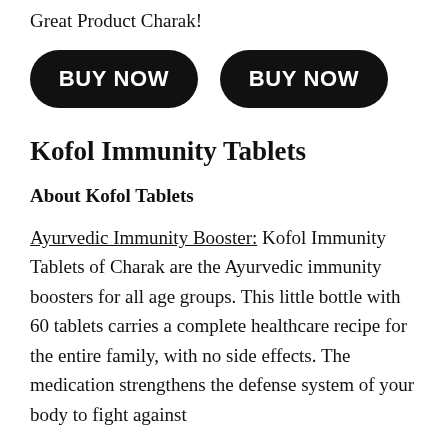Great Product Charak!
[Figure (other): Two black rounded rectangle BUY NOW buttons side by side]
Kofol Immunity Tablets
About Kofol Tablets
Ayurvedic Immunity Booster: Kofol Immunity Tablets of Charak are the Ayurvedic immunity boosters for all age groups. This little bottle with 60 tablets carries a complete healthcare recipe for the entire family, with no side effects. The medication strengthens the defense system of your body to fight against